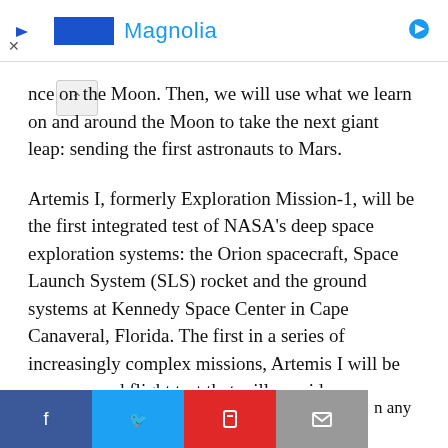Magnolia (advertisement bar)
nce on the Moon. Then, we will use what we learn on and around the Moon to take the next giant leap: sending the first astronauts to Mars.
Artemis I, formerly Exploration Mission-1, will be the first integrated test of NASA’s deep space exploration systems: the Orion spacecraft, Space Launch System (SLS) rocket and the ground systems at Kennedy Space Center in Cape Canaveral, Florida. The first in a series of increasingly complex missions, Artemis I will be an uncrewed flight test that will provide a foundation for human deep space exploration, and demonstrate our commitment and capability to extend human existence to the Moon and beyond.
During this flight, the spacecraft will launch on the most
Facebook Twitter Flipboard Email share buttons